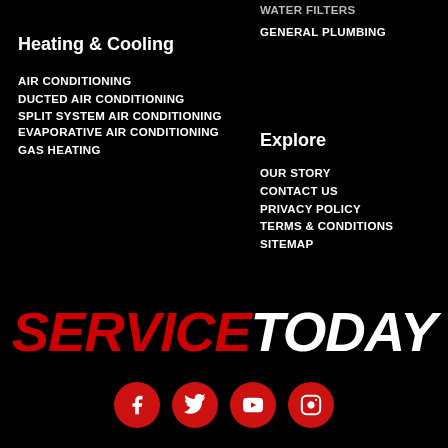WATER FILTERS
GENERAL PLUMBING
Heating & Cooling
AIR CONDITIONING
DUCTED AIR CONDITIONING
SPLIT SYSTEM AIR CONDITIONING
EVAPORATIVE AIR CONDITIONING
GAS HEATING
Explore
OUR STORY
CONTACT US
PRIVACY POLICY
TERMS & CONDITIONS
SITEMAP
[Figure (logo): SERVICE TODAY logo in bold italic text, SERVICE in red and TODAY in white]
[Figure (infographic): Four red circular social media icons: Facebook, Twitter, YouTube, Instagram]